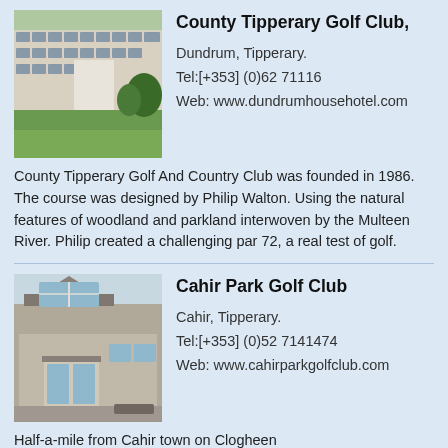[Figure (photo): Aerial/ground view of a large country house hotel with green golf course grounds and trees]
County Tipperary Golf Club,
Dundrum, Tipperary.
Tel:[+353] (0)62 71116
Web: www.dundrumhousehotel.com
County Tipperary Golf And Country Club was founded in 1986. The course was designed by Philip Walton. Using the natural features of woodland and parkland interwoven by the Multeen River. Philip created a challenging par 72, a real test of golf.
[Figure (photo): Building facade of Cahir Park Golf Club, a stone/rendered building with large glass windows and entrance]
Cahir Park Golf Club
Cahir, Tipperary.
Tel:[+353] (0)52 7141474
Web: www.cahirparkgolfclub.com
Half-a-mile from Cahir town on Clogheen